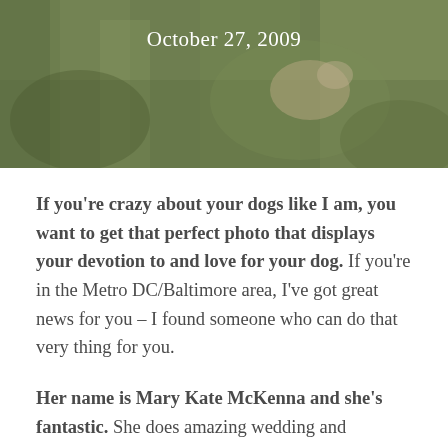[Figure (photo): A green grassy outdoor photo with a dog partially visible, overlaid with white text showing the date 'October 27, 2009']
If you're crazy about your dogs like I am, you want to get that perfect photo that displays your devotion to and love for your dog. If you're in the Metro DC/Baltimore area, I've got great news for you – I found someone who can do that very thing for you.
Her name is Mary Kate McKenna and she's fantastic. She does amazing wedding and